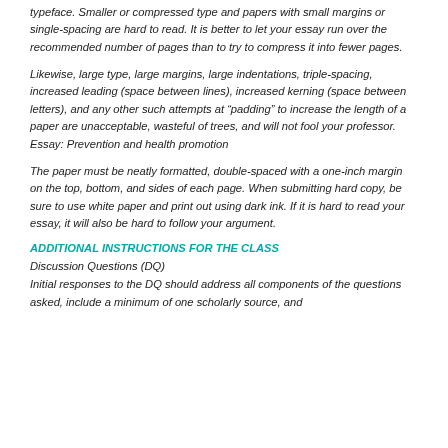typeface. Smaller or compressed type and papers with small margins or single-spacing are hard to read. It is better to let your essay run over the recommended number of pages than to try to compress it into fewer pages.
Likewise, large type, large margins, large indentations, triple-spacing, increased leading (space between lines), increased kerning (space between letters), and any other such attempts at “padding” to increase the length of a paper are unacceptable, wasteful of trees, and will not fool your professor. Essay: Prevention and health promotion
The paper must be neatly formatted, double-spaced with a one-inch margin on the top, bottom, and sides of each page. When submitting hard copy, be sure to use white paper and print out using dark ink. If it is hard to read your essay, it will also be hard to follow your argument.
ADDITIONAL INSTRUCTIONS FOR THE CLASS
Discussion Questions (DQ)
Initial responses to the DQ should address all components of the questions asked, include a minimum of one scholarly source, and